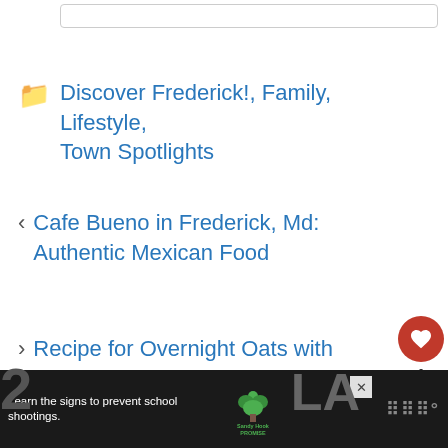Discover Frederick!, Family, Lifestyle, Town Spotlights
< Cafe Bueno in Frederick, Md: Authentic Mexican Food
> Recipe for Overnight Oats with Apples & Almond Butter
[Figure (screenshot): Advertisement banner: Learn the signs to prevent school shootings. Sandy Hook Promise logo. Dark background.]